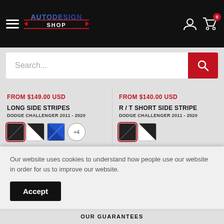AutoDesign Shop — navigation header with hamburger menu, logo, user icon, cart icon with badge 0
Search...
FROM $149.00 USD
LONG SIDE STRIPES
DODGE CHALLENGER 2011 - 2020
[Figure (other): Color swatches: carbon/black selected (red border), black/white diagonal, blue diagonal, +4 more]
FROM $140.00 USD
R / T SHORT SIDE STRIPE
DODGE CHALLENGER 2011 - 2020
[Figure (other): Color swatches: carbon/black selected (red border), black/white diagonal]
CHOOSE OPTIONS
CHOOSE OP
Our website uses cookies to understand how people use our website in order for us to improve our website.
Accept
OUR GUARANTEES